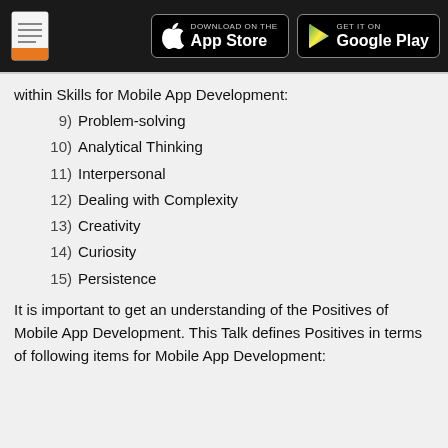Download on the App Store | GET IT ON Google Play
within Skills for Mobile App Development:
9) Problem-solving
10) Analytical Thinking
11) Interpersonal
12) Dealing with Complexity
13) Creativity
14) Curiosity
15) Persistence
It is important to get an understanding of the Positives of Mobile App Development. This Talk defines Positives in terms of following items for Mobile App Development: